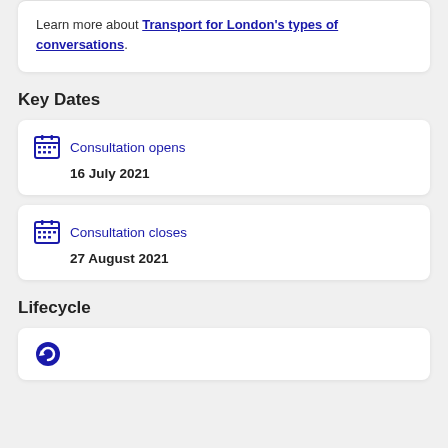Learn more about Transport for London's types of conversations.
Key Dates
Consultation opens
16 July 2021
Consultation closes
27 August 2021
Lifecycle